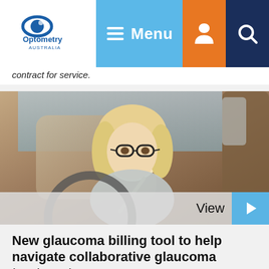Optometry Australia — Menu navigation bar with logo, menu, user icon, and search icon
contract for service.
[Figure (photo): A blonde woman wearing glasses sitting in the driver's seat of a car, wearing a seatbelt, looking at the camera. A 'View' button with a blue play button is overlaid at the bottom right.]
New glaucoma billing tool to help navigate collaborative glaucoma treatments
Optometry Australia has launched a new glaucoma billing tool to assist optometry practices in understanding the financial viability and requirements for glaucoma management within their practice.